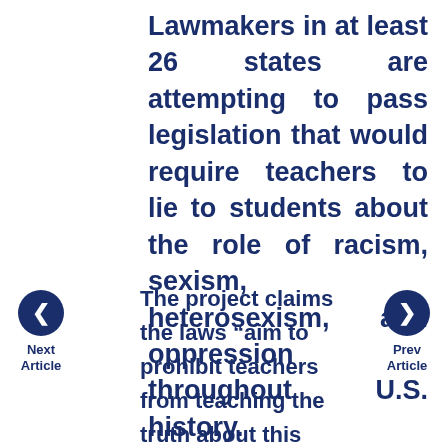Lawmakers in at least 26 states are attempting to pass legislation that would require teachers to lie to students about the role of racism, sexism, heterosexism, and oppression throughout U.S. history.
Next Article
Prev Article
The project claims the laws “aim to prohibit teachers from teaching the truth about this country: It was founded on dispossession of Native Americans, slavery, structural racism and oppression;